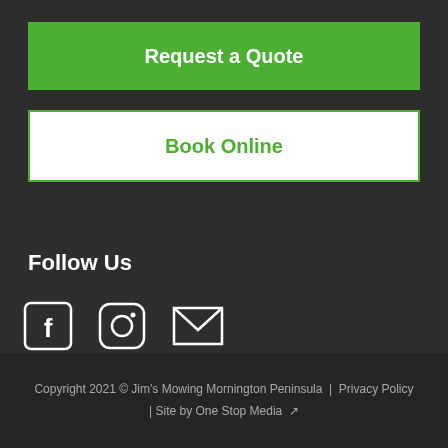Request a Quote
Book Online
Follow Us
[Figure (illustration): Social media icons: Facebook, Instagram, Email/envelope]
Copyright 2021 © Jim's Mowing Mornington Peninsula  |  Privacy Policy  |  Site by One Stop Media ↗